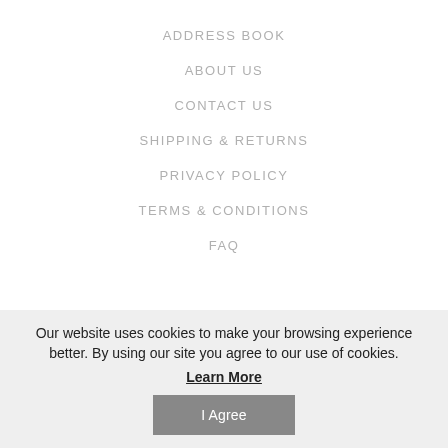ADDRESS BOOK
ABOUT US
CONTACT US
SHIPPING & RETURNS
PRIVACY POLICY
TERMS & CONDITIONS
FAQ
Our website uses cookies to make your browsing experience better. By using our site you agree to our use of cookies.
Learn More
I Agree